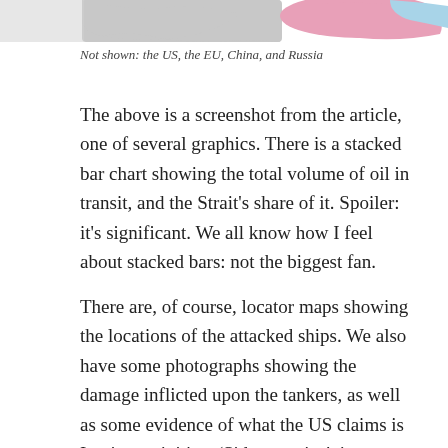[Figure (map): Partial top of a map graphic showing colored country shapes in pink, light blue, and gray. The visible portion is the bottom edge of a map cropped at the top of the page.]
Not shown: the US, the EU, China, and Russia
The above is a screenshot from the article, one of several graphics. There is a stacked bar chart showing the total volume of oil in transit, and the Strait’s share of it. Spoiler: it’s significant. We all know how I feel about stacked bars: not the biggest fan.
There are, of course, locator maps showing the locations of the attacked ships. We also have some photographs showing the damage inflicted upon the tankers, as well as some evidence of what the US claims is Iranian activities. (Side note: isn’t it great that when the US really wants the world to